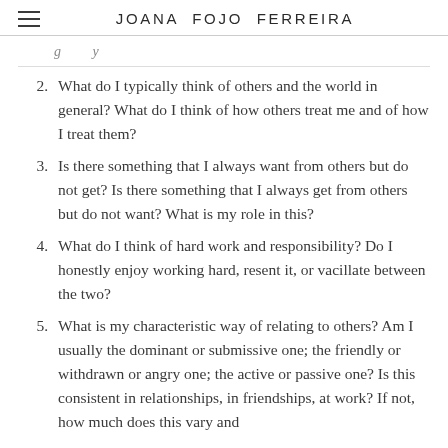JOANA FOJO FERREIRA
2. What do I typically think of others and the world in general? What do I think of how others treat me and of how I treat them?
3. Is there something that I always want from others but do not get? Is there something that I always get from others but do not want? What is my role in this?
4. What do I think of hard work and responsibility? Do I honestly enjoy working hard, resent it, or vacillate between the two?
5. What is my characteristic way of relating to others? Am I usually the dominant or submissive one; the friendly or withdrawn or angry one; the active or passive one? Is this consistent in relationships, in friendships, at work? If not, how much does this vary and